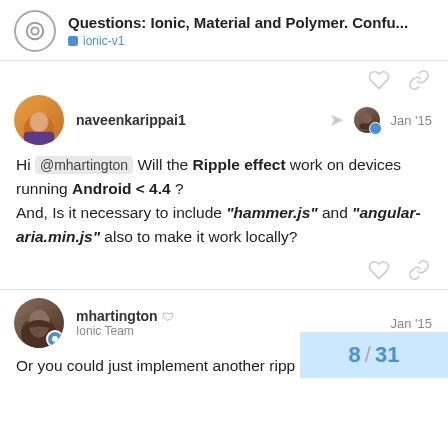Questions: Ionic, Material and Polymer. Confu... ionic-v1
naveenkarippai1 Jan '15
Hi @mhartington Will the Ripple effect work on devices running Android < 4.4 ? And, Is it necessary to include "hammer.js" and "angular-aria.min.js" also to make it work locally?
mhartington Ionic Team Jan '15
Or you could just implement another ripp
8 / 31